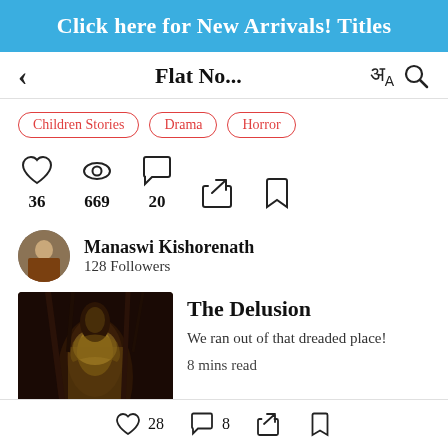Click here for New Arrivals! Titles
Flat No...
Children Stories
Drama
Horror
36 likes, 669 views, 20 comments
Manaswi Kishorenath
128 Followers
The Delusion
We ran out of that dreaded place!
8 mins read
28 likes, 8 comments